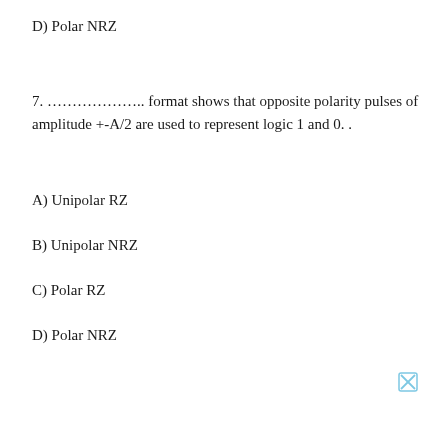D) Polar NRZ
7. ……………….. format shows that opposite polarity pulses of amplitude +-A/2 are used to represent logic 1 and 0..
A) Unipolar RZ
B) Unipolar NRZ
C) Polar RZ
D) Polar NRZ